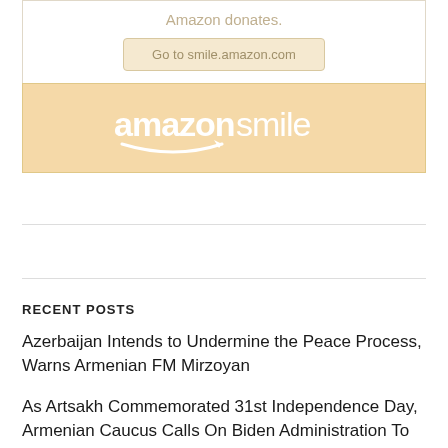[Figure (logo): AmazonSmile banner with 'Amazon donates.' text, 'Go to smile.amazon.com' button, and amazonsmile logo on orange/peach background]
RECENT POSTS
Azerbaijan Intends to Undermine the Peace Process, Warns Armenian FM Mirzoyan
As Artsakh Commemorated 31st Independence Day, Armenian Caucus Calls On Biden Administration To Assist Vulnerable